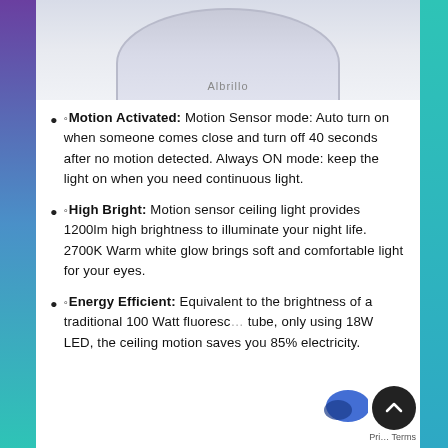[Figure (photo): Circular ceiling light device (Albrillo brand) shown from below, with a round white/grey disc shape against a light grey background. Only the bottom half of the device is visible.]
◦Motion Activated: Motion Sensor mode: Auto turn on when someone comes close and turn off 40 seconds after no motion detected. Always ON mode: keep the light on when you need continuous light.
◦High Bright: Motion sensor ceiling light provides 1200lm high brightness to illuminate your night life. 2700K Warm white glow brings soft and comfortable light for your eyes.
◦Energy Efficient: Equivalent to the brightness of a traditional 100 Watt fluorescent tube, only using 18W LED, the ceiling motion saves you 85% electricity.